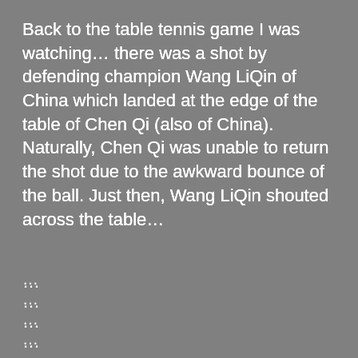Back to the table tennis game I was watching… there was a shot by defending champion Wang LiQin of China which landed at the edge of the table of Chen Qi (also of China). Naturally, Chen Qi was unable to return the shot due to the awkward bounce of the ball. Just then, Wang LiQin shouted across the table…
…
…
…
…
…
…
…
…
…
…
…
…
…
…
…